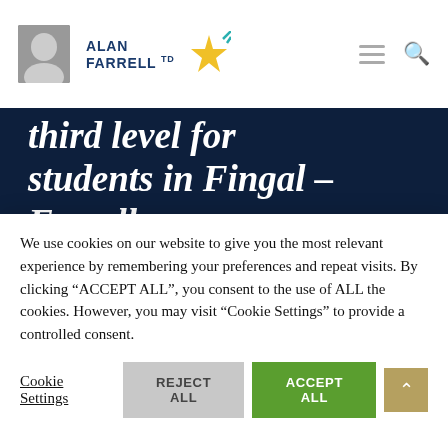Alan Farrell TD — navigation header with logo, hamburger menu, and search icon
third level for students in Fingal – Farrell
A significant package to assist third level institutions with reopening and help end the digital divide will benefit students in Dublin Fingal, a Fine Gael Deputy said. Deputy
We use cookies on our website to give you the most relevant experience by remembering your preferences and repeat visits. By clicking "ACCEPT ALL", you consent to the use of ALL the cookies. However, you may visit "Cookie Settings" to provide a controlled consent.
Cookie Settings   REJECT ALL   ACCEPT ALL